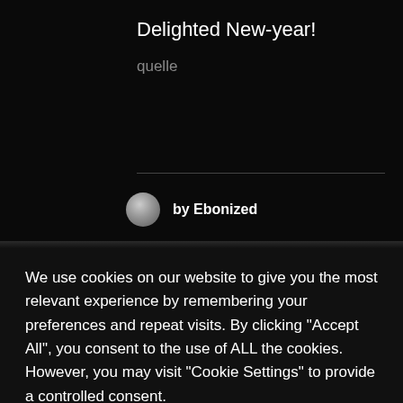Delighted New-year!
quelle
by Ebonized
We use cookies on our website to give you the most relevant experience by remembering your preferences and repeat visits. By clicking "Accept All", you consent to the use of ALL the cookies. However, you may visit "Cookie Settings" to provide a controlled consent.
Cookie Settings
Accept All